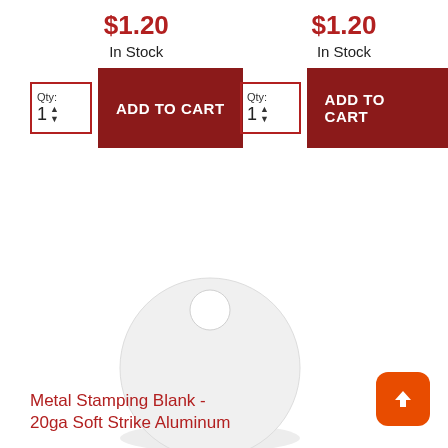$1.20
In Stock
$1.20
In Stock
[Figure (photo): A circular metal stamping blank, round white/silver disk with a small hole near the top center, shown on white background.]
Metal Stamping Blank - 20ga Soft Strike Aluminum